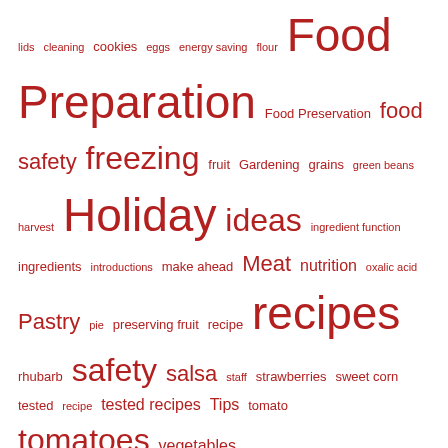lids cleaning cookies eggs energy saving flour Food Preparation Food Preservation food safety freezing fruit Gardening grains green beans harvest Holiday ideas ingredient function ingredients introductions make ahead Meat nutrition oxalic acid Pastry pie preserving fruit recipe recipes rhubarb safety salsa staff strawberries sweet corn tested recipe tested recipes Tips tomato tomatoes vegetables
Archives
[Figure (screenshot): Select Month dropdown widget]
Categories
[Figure (screenshot): Select Category dropdown widget inside Categories box]
Meta